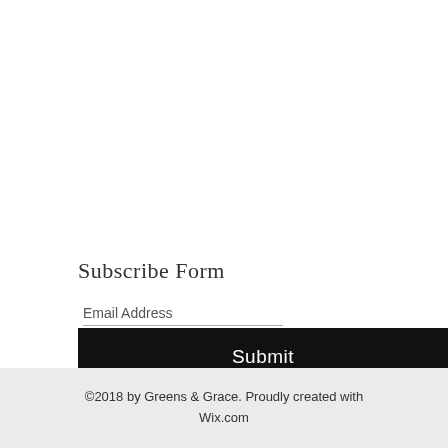Subscribe Form
Email Address
Submit
©2018 by Greens & Grace. Proudly created with Wix.com